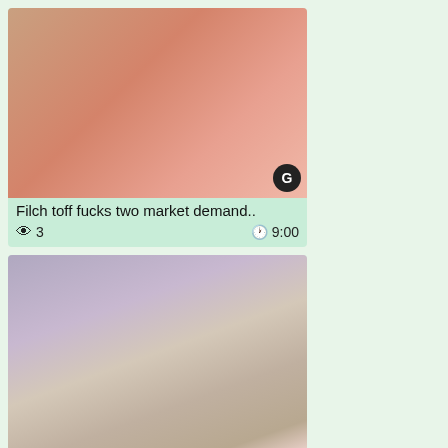[Figure (photo): Video thumbnail showing adult content - first video card]
Filch toff fucks two market demand..
👁 3    🕐 9:00
[Figure (photo): Video thumbnail showing adult content - second video card]
Petite Japanese coed takes a dose of..
👁 68    🕐 1:58